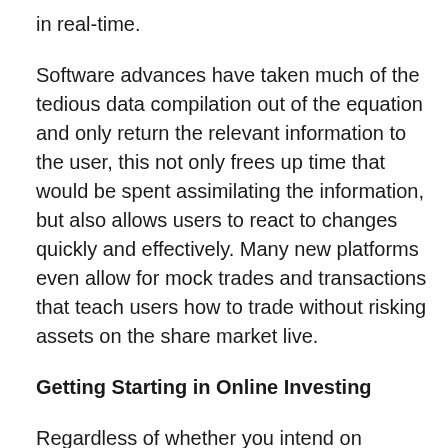in real-time.
Software advances have taken much of the tedious data compilation out of the equation and only return the relevant information to the user, this not only frees up time that would be spent assimilating the information, but also allows users to react to changes quickly and effectively. Many new platforms even allow for mock trades and transactions that teach users how to trade without risking assets on the share market live.
Getting Starting in Online Investing
Regardless of whether you intend on investing in the share market or are interested in real